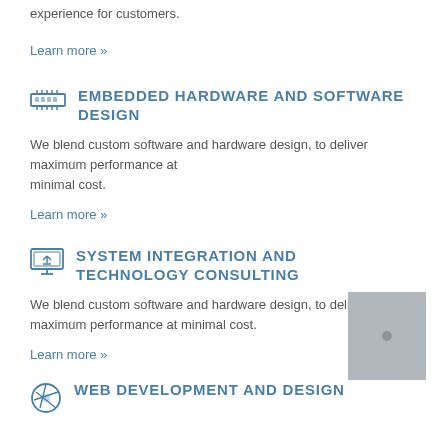experience for customers.
Learn more »
EMBEDDED HARDWARE AND SOFTWARE DESIGN
We blend custom software and hardware design, to deliver maximum performance at minimal cost.
Learn more »
SYSTEM INTEGRATION AND TECHNOLOGY CONSULTING
We blend custom software and hardware design, to deliver maximum performance at minimal cost.
Learn more »
WEB DEVELOPMENT AND DESIGN